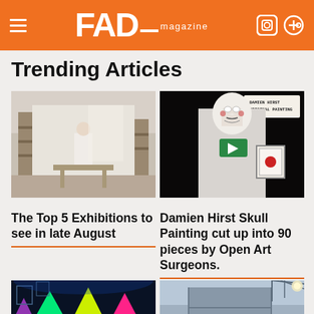FAD magazine
Trending Articles
[Figure (photo): Interior photo of a light-filled studio/gallery space with wooden shelving and white walls]
[Figure (photo): Person wearing Guy Fawkes mask holding a framed Damien Hirst original painting, text overlay reads DAMIEN HIRST ORIGINAL PAINTING]
The Top 5 Exhibitions to see in late August
Damien Hirst Skull Painting cut up into 90 pieces by Open Art Surgeons.
[Figure (photo): Neon coloured geometric pyramid sculptures in dark exhibition space with blue lighting]
[Figure (photo): Exterior architectural photo of a large grey concrete or steel wall structure]